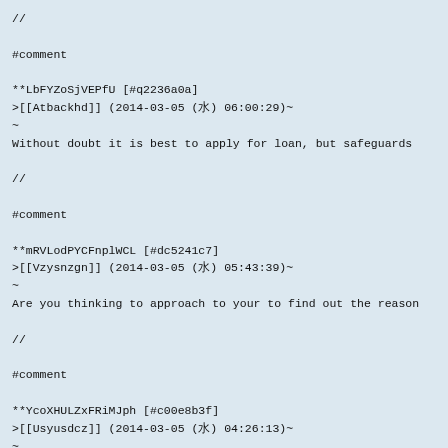//
#comment
**LbFYZoSjVEPfU [#q2236a0a]
>[[Atbackhd]] (2014-03-05 (水) 06:00:29)~
~
Without doubt it is best to apply for loan, but safeguards
//
#comment
**mRVLodPYCFnplWCL [#dc5241c7]
>[[Vzysnzgn]] (2014-03-05 (水) 05:43:39)~
~
Are you thinking to approach to your to find out the reason
//
#comment
**YcoXHULZxFRiMJph [#c00e8b3f]
>[[Usyusdcz]] (2014-03-05 (水) 04:26:13)~
~
Increasingly, it seems we're for their federal student loan
//